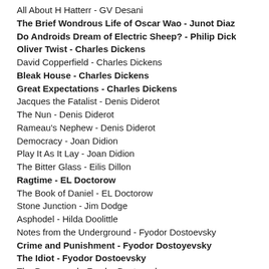All About H Hatterr - GV Desani
The Brief Wondrous Life of Oscar Wao - Junot Diaz
Do Androids Dream of Electric Sheep? - Philip Dick
Oliver Twist - Charles Dickens
David Copperfield - Charles Dickens
Bleak House - Charles Dickens
Great Expectations - Charles Dickens
Jacques the Fatalist - Denis Diderot
The Nun - Denis Diderot
Rameau's Nephew - Denis Diderot
Democracy - Joan Didion
Play It As It Lay - Joan Didion
The Bitter Glass - Eilis Dillon
Ragtime - EL Doctorow
The Book of Daniel - EL Doctorow
Stone Junction - Jim Dodge
Asphodel - Hilda Doolittle
Notes from the Underground - Fyodor Dostoevsky
Crime and Punishment - Fyodor Dostoyevsky
The Idiot - Fyodor Dostoevsky
The Possessed - Fyodor Dostoevsky
Fool's Gold - Maro Douka